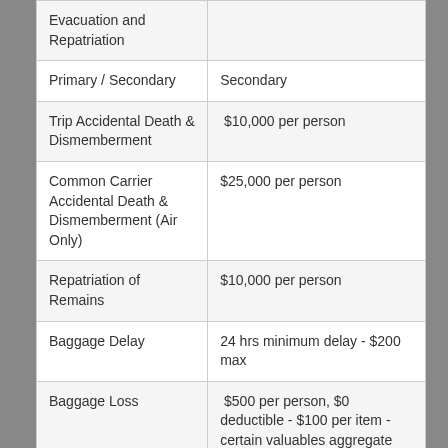| Coverage | Benefit |
| --- | --- |
| Evacuation and Repatriation |  |
| Primary / Secondary | Secondary |
| Trip Accidental Death & Dismemberment | $10,000 per person |
| Common Carrier Accidental Death & Dismemberment (Air Only) | $25,000 per person |
| Repatriation of Remains | $10,000 per person |
| Baggage Delay | 24 hrs minimum delay - $200 max |
| Baggage Loss | $500 per person, $0 deductible - $100 per item - certain valuables aggregate $250 |
| 24/7 Worldwide | Included |